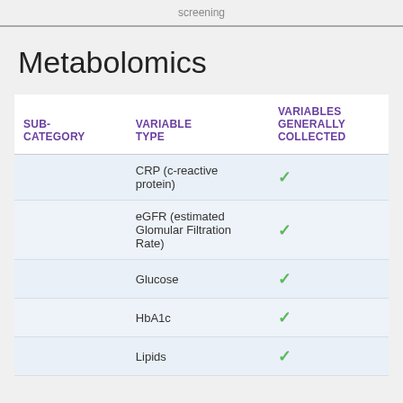screening
Metabolomics
| SUB-CATEGORY | VARIABLE TYPE | VARIABLES GENERALLY COLLECTED |
| --- | --- | --- |
|  | CRP (c-reactive protein) | ✓ |
|  | eGFR (estimated Glomular Filtration Rate) | ✓ |
|  | Glucose | ✓ |
|  | HbA1c | ✓ |
|  | Lipids | ✓ |